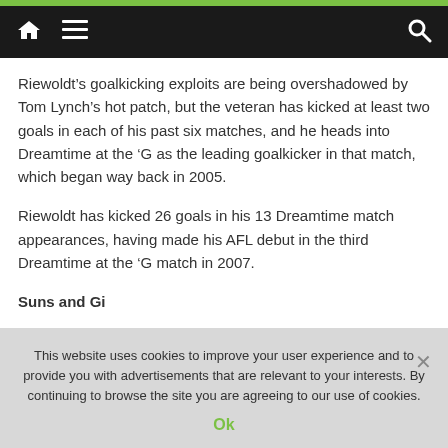Navigation bar with home icon, menu icon, and search icon
Riewoldt’s goalkicking exploits are being overshadowed by Tom Lynch’s hot patch, but the veteran has kicked at least two goals in each of his past six matches, and he heads into Dreamtime at the ‘G as the leading goalkicker in that match, which began way back in 2005.
Riewoldt has kicked 26 goals in his 13 Dreamtime match appearances, having made his AFL debut in the third Dreamtime at the ‘G match in 2007.
This website uses cookies to improve your user experience and to provide you with advertisements that are relevant to your interests. By continuing to browse the site you are agreeing to our use of cookies.
Ok